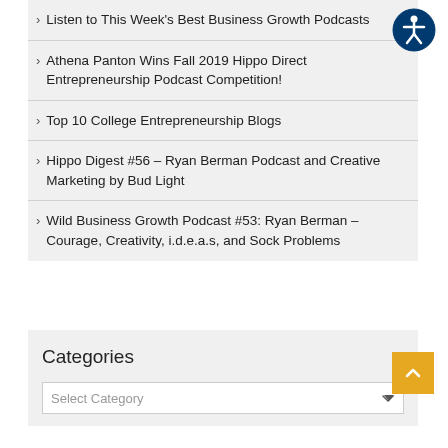Listen to This Week's Best Business Growth Podcasts
Athena Panton Wins Fall 2019 Hippo Direct Entrepreneurship Podcast Competition!
Top 10 College Entrepreneurship Blogs
Hippo Digest #56 – Ryan Berman Podcast and Creative Marketing by Bud Light
Wild Business Growth Podcast #53: Ryan Berman – Courage, Creativity, i.d.e.a.s, and Sock Problems
Categories